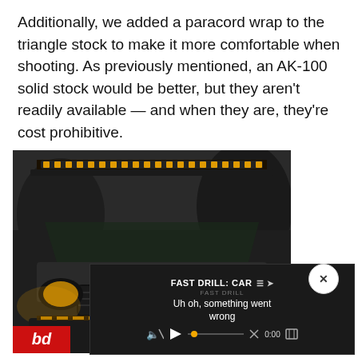Additionally, we added a paracord wrap to the triangle stock to make it more comfortable when shooting. As previously mentioned, an AK-100 solid stock would be better, but they aren't readily available — and when they are, they're cost prohibitive.
[Figure (photo): Black Toyota 4Runner SUV with a yellow LED light bar mounted on the roof, photographed in a dark/moody outdoor setting. Bottom of image shows Baja Designs branding with red and white logo and website URL www.bajadesigns.com. A video player overlay appears at the bottom right showing 'FAST DRILL: CAR' with error message 'Uh oh, something went wrong' and playback controls showing 0:00 timestamp. A close (X) button is visible in a white circle.]